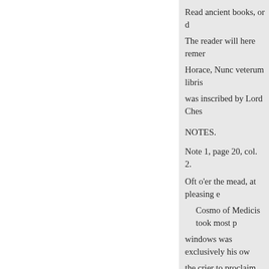Read ancient books, or d…
The reader will here remer…
Horace, Nunc veterum libris…
was inscribed by Lord Ches…
NOTES.
Note 1, page 20, col. 2.
Oft o'er the mead, at pleasing e…
Cosmo of Medicis took most p… windows was exclusively his ow… the crier to proclaim, as its best r…
1-dapes inemptas.-Hor.
2 Innocuas amo delicias doctamo…
Note 2, page 20, col. 2.
And through the various y…
Horace commends the hous…